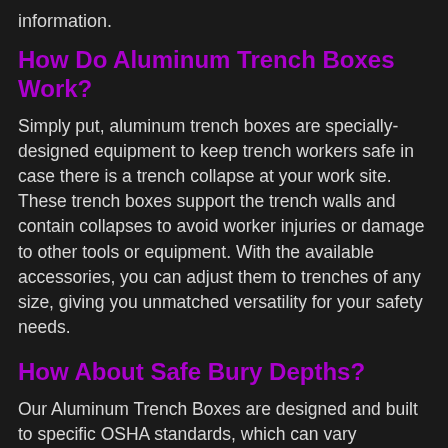information.
How Do Aluminum Trench Boxes Work?
Simply put, aluminum trench boxes are specially-designed equipment to keep trench workers safe in case there is a trench collapse at your work site. These trench boxes support the trench walls and contain collapses to avoid worker injuries or damage to other tools or equipment. With the available accessories, you can adjust them to trenches of any size, giving you unmatched versatility for your safety needs.
How About Safe Bury Depths?
Our Aluminum Trench Boxes are designed and built to specific OSHA standards, which can vary depending on the application. With that versatility, our staff can assist you in customizing your order to ensure that you have all of the right equipment for your business